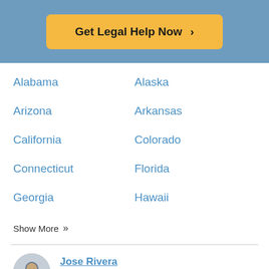[Figure (other): Orange call-to-action button reading 'Get Legal Help Now >' on a blue-grey banner background]
Alabama
Alaska
Arizona
Arkansas
California
Colorado
Connecticut
Florida
Georgia
Hawaii
Show More >>
Jose Rivera
Managing Editor
Original Author